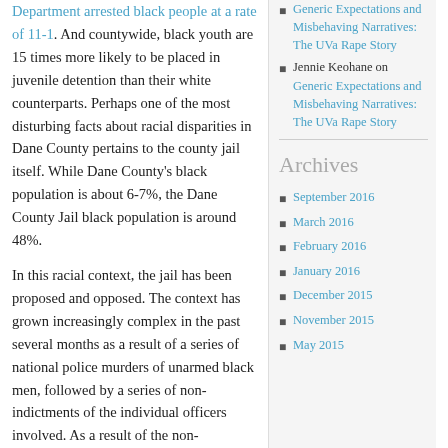Department arrested black people at a rate of 11-1. And countywide, black youth are 15 times more likely to be placed in juvenile detention than their white counterparts. Perhaps one of the most disturbing facts about racial disparities in Dane County pertains to the county jail itself. While Dane County's black population is about 6-7%, the Dane County Jail black population is around 48%.
In this racial context, the jail has been proposed and opposed. The context has grown increasingly complex in the past several months as a result of a series of national police murders of unarmed black men, followed by a series of non-indictments of the individual officers involved. As a result of the non-indictment of Darren Wilson, the officer who killed Michael Brown in Ferguson, Missouri, a coalition emerged in Dane County calling themselves
Generic Expectations and Misbehaving Narratives: The UVa Rape Story
Jennie Keohane on Generic Expectations and Misbehaving Narratives: The UVa Rape Story
Archives
September 2016
March 2016
February 2016
January 2016
December 2015
November 2015
May 2015